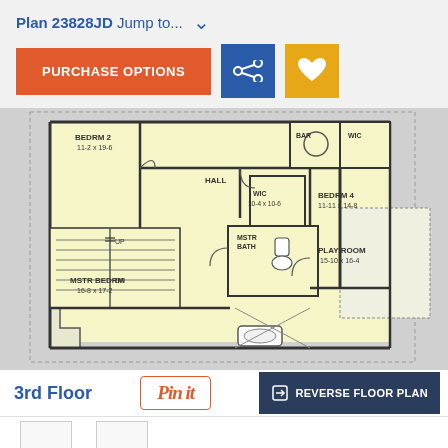Plan 23828JD  Jump to...  ˅
PURCHASE OPTIONS
[Figure (engineering-diagram): 3rd floor architectural floor plan showing MSTR BEDRM (16-8 x 17-2), BEDRM 2 (11-2 x 19-6), BEDRM 4 (11-11 x 14-8), WIC (10-4 x 10-6), MSTR BATH, PLAY ROOM (15-10 x 16-4), HALL, stairs with UP/DN labels, WIC, BAR, and bathroom fixtures]
3rd Floor
Pin it
REVERSE FLOOR PLAN